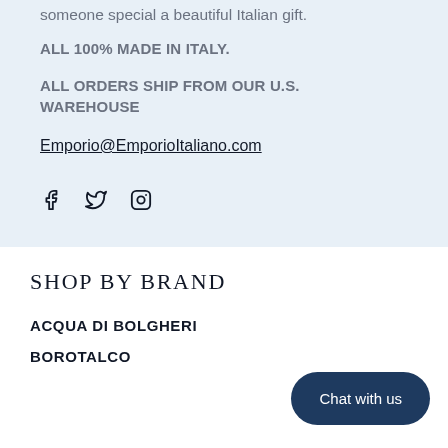someone special a beautiful Italian gift.
All 100% MADE IN ITALY.
ALL ORDERS SHIP FROM OUR U.S. WAREHOUSE
Emporio@EmporioItaliano.com
[Figure (other): Social media icons: Facebook, Twitter, Instagram]
SHOP BY BRAND
ACQUA DI BOLGHERI
BOROTALCO
Chat with us